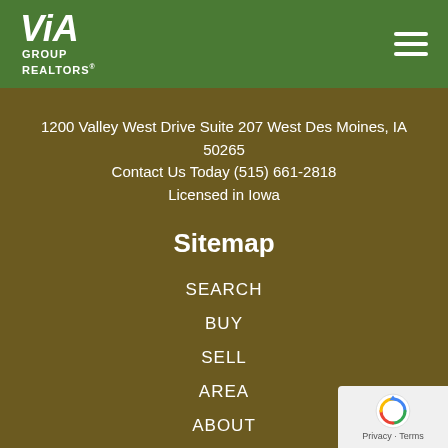VIA GROUP REALTORS®
1200 Valley West Drive Suite 207 West Des Moines, IA 50265
Contact Us Today (515) 661-2818
Licensed in Iowa
Sitemap
SEARCH
BUY
SELL
AREA
ABOUT
[Figure (logo): reCAPTCHA badge with Privacy and Terms links]